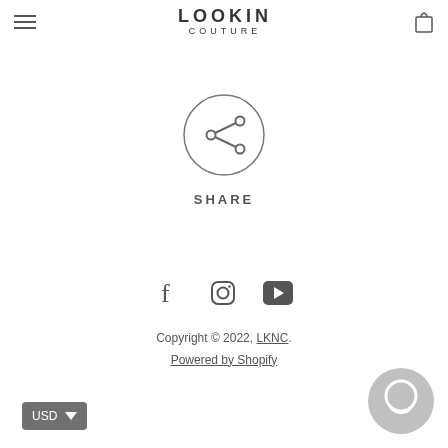LOOKIN COUTURE
[Figure (illustration): Share icon: circle with share/network symbol inside]
SHARE
[Figure (illustration): Social media icons: Facebook, Instagram, YouTube]
Copyright © 2022, LKNC. Powered by Shopify
[Figure (illustration): USD currency selector button (gray rounded button)]
[Figure (illustration): Chat bubble widget icon (gray circle with speech bubble)]